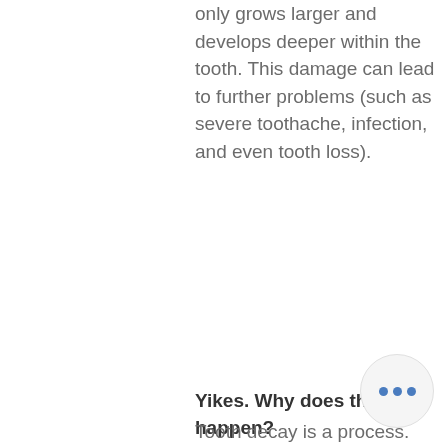only grows larger and develops deeper within the tooth. This damage can lead to further problems (such as severe toothache, infection, and even tooth loss).
Yikes. Why does this happen?
Tooth decay is a process. To start,